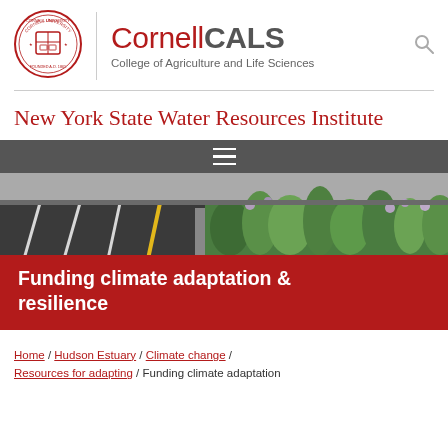[Figure (logo): Cornell University seal/crest logo in red, circular with shield and text]
CornellCALS College of Agriculture and Life Sciences
New York State Water Resources Institute
[Figure (photo): Hero image showing a road with road markings on the left and a green planted median/parkway with flowering plants on the right, overlaid with red banner reading 'Funding climate adaptation & resilience']
Home / Hudson Estuary / Climate change / Resources for adapting / Funding climate adaptation